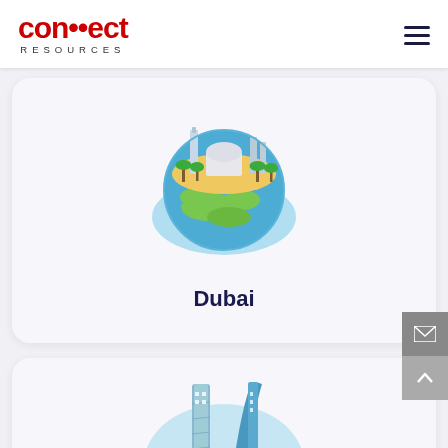connect RESOURCES
[Figure (illustration): Globe illustration with Dubai cityscape landmarks, mosque, palm trees on top of a world globe with blue oceans and green landmasses]
Dubai
[Figure (illustration): Abu Dhabi cityscape illustration with two iconic skyscrapers, palm trees on green ground with brown roots/shadow beneath]